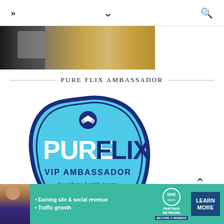» ∨ 🔍
[Figure (photo): Partial food photo showing a dark skillet or pan on the left and a wooden cutting board with light-colored food on the right]
PURE FLIX AMBASSADOR
[Figure (logo): Pure Flix VIP Ambassador badge logo — a light blue rounded shield/blob shape with dark navy border. Contains a small wing/arrow icon at top, 'PURE' in white bold text, 'FLIX' in navy bold text, 'VIP AMBASSADOR' in navy, and 'Your Home for Wholesome Faith & Family Streaming' in smaller text.]
[Figure (infographic): SHE Partner Network advertisement banner in teal/green background. Features a woman photo on left, bullet points 'Earning site & social revenue' and 'Traffic growth', SHE Partner Network circular logo, and a dark blue 'LEARN MORE' button with 'BECOME A MEMBER' text.]